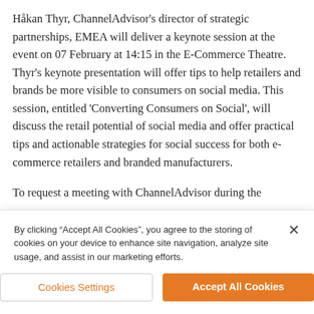Håkan Thyr, ChannelAdvisor's director of strategic partnerships, EMEA will deliver a keynote session at the event on 07 February at 14:15 in the E-Commerce Theatre. Thyr's keynote presentation will offer tips to help retailers and brands be more visible to consumers on social media. This session, entitled 'Converting Consumers on Social', will discuss the retail potential of social media and offer practical tips and actionable strategies for social success for both e-commerce retailers and branded manufacturers.
To request a meeting with ChannelAdvisor during the
By clicking "Accept All Cookies", you agree to the storing of cookies on your device to enhance site navigation, analyze site usage, and assist in our marketing efforts.
Cookies Settings
Accept All Cookies